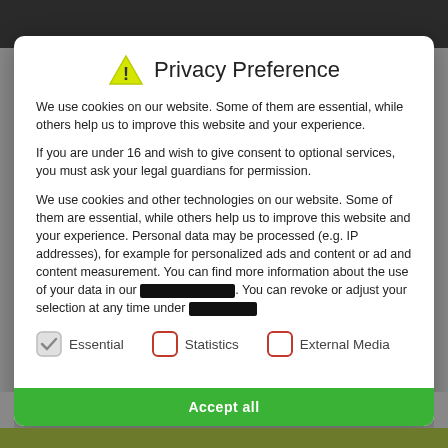Privacy Preference
We use cookies on our website. Some of them are essential, while others help us to improve this website and your experience.
If you are under 16 and wish to give consent to optional services, you must ask your legal guardians for permission.
We use cookies and other technologies on our website. Some of them are essential, while others help us to improve this website and your experience. Personal data may be processed (e.g. IP addresses), for example for personalized ads and content or ad and content measurement. You can find more information about the use of your data in our [redacted]. You can revoke or adjust your selection at any time under [redacted]
Essential (checked)
Statistics (unchecked)
External Media (unchecked)